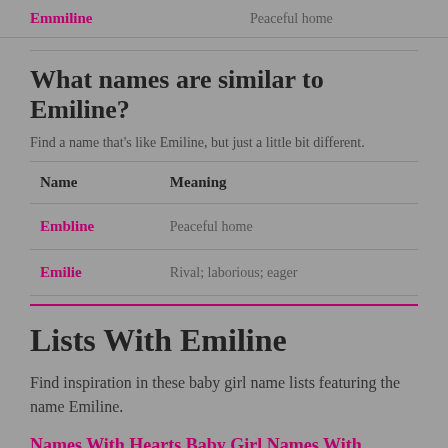| Emmiline | Peaceful home |
| --- | --- |
What names are similar to Emiline?
Find a name that's like Emiline, but just a little bit different.
| Name | Meaning |
| --- | --- |
| Embline | Peaceful home |
| Emilie | Rival; laborious; eager |
Lists With Emiline
Find inspiration in these baby girl name lists featuring the name Emiline.
Names With Hearts Baby Girl Names With